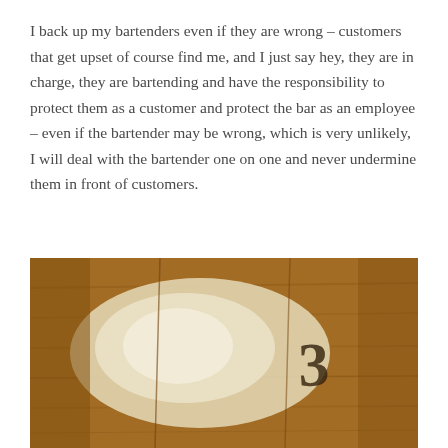I back up my bartenders even if they are wrong – customers that get upset of course find me, and I just say hey, they are in charge, they are bartending and have the responsibility to protect them as a customer and protect the bar as an employee – even if the bartender may be wrong, which is very unlikely, I will deal with the bartender one on one and never undermine them in front of customers.
[Figure (photo): A worn wooden surface (bar top or table) with a white powdery/scratched area in the center and the number 3 stamped or written in dark ink toward the right side.]